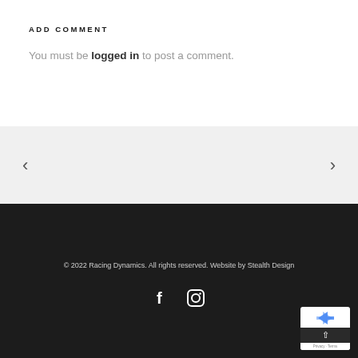ADD COMMENT
You must be logged in to post a comment.
< >
© 2022 Racing Dynamics. All rights reserved. Website by Stealth Design
[Figure (other): Facebook and Instagram social media icons]
[Figure (other): reCAPTCHA badge with privacy and terms links]